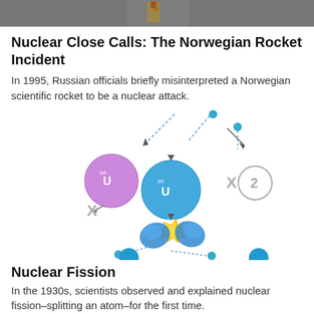[Figure (photo): Top portion of a rocket photo, partially cropped]
Nuclear Close Calls: The Norwegian Rocket Incident
In 1995, Russian officials briefly misinterpreted a Norwegian scientific rocket to be a nuclear attack.
[Figure (illustration): Nuclear fission diagram showing uranium-238 and uranium-235 atoms, neutrons, fission products, and chain reaction with dotted arrows and an X symbol indicating non-fission path, and a circled number 2]
Nuclear Fission
In the 1930s, scientists observed and explained nuclear fission–splitting an atom–for the first time.
[Figure (photo): Bottom portion of a black and white photograph, partially cropped]